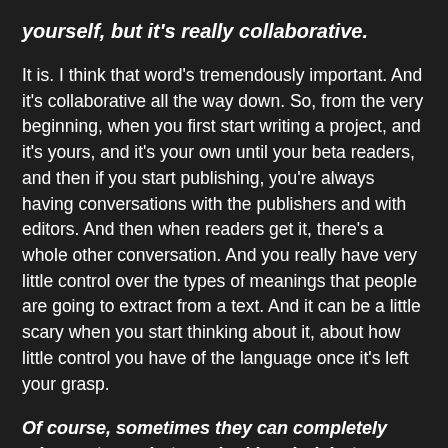yourself, but it's really collaborative.
It is. I think that word's tremendously important. And it's collaborative all the way down. So, from the very beginning, when you first start writing a project, and it's yours, and it's your own until your beta readers, and then if you start publishing, you're always having conversations with the publishers and with editors. And then when readers get it, there's a whole other conversation. And you really have very little control over the types of meanings that people are going to extract from a text. And it can be a little scary when you start thinking about it, about how little control you have of the language once it's left your grasp.
Of course, sometimes they can completely misconstrue what you had in mind, but you don't have any control there either, so . . .